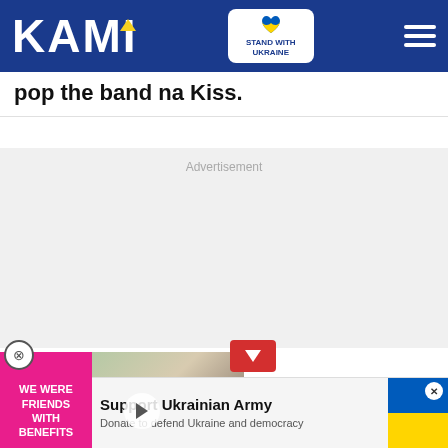KAMI — STAND WITH UKRAINE
pop the band na Kiss.
Advertisement
[Figure (screenshot): Video thumbnail showing couple (man in tuxedo, woman smiling) with pink overlay text: WE WERE FRIENDS WITH BENEFITS, and a play button]
[Figure (photo): Support Ukrainian Army advertisement with soldiers photo, blue-yellow Ukraine flag, and close button]